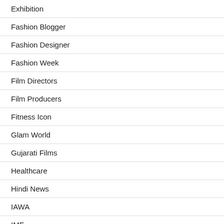Exhibition
Fashion Blogger
Fashion Designer
Fashion Week
Film Directors
Film Producers
Fitness Icon
Glam World
Gujarati Films
Healthcare
Hindi News
IAWA
IMF
Indywood